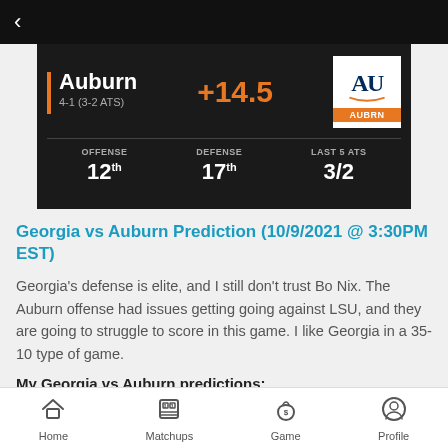[Figure (infographic): Auburn team stats panel showing Auburn 4-1 (3-2 ATS) with spread +14.5, Offense 12th, Defense 17th, Last 5 ATS 3/2, and Auburn logo]
Georgia vs Auburn Prediction (10/9/2021 @ 3:30PM EST)
Georgia's defense is elite, and I still don't trust Bo Nix. The Auburn offense had issues getting going against LSU, and they are going to struggle to score in this game. I like Georgia in a 35-10 type of game.
My Georgia vs Auburn predictions:
GEORGI -14.5 (-110)   $500   $455
Home   Matchups   Game   Profile